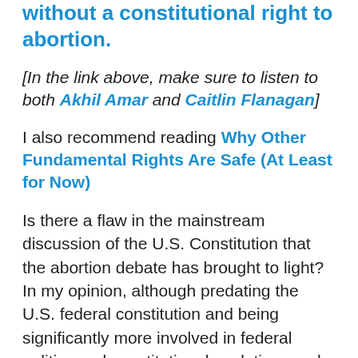without a constitutional right to abortion.
[In the link above, make sure to listen to both Akhil Amar and Caitlin Flanagan]
I also recommend reading Why Other Fundamental Rights Are Safe (At Least for Now)
Is there a flaw in the mainstream discussion of the U.S. Constitution that the abortion debate has brought to light? In my opinion, although predating the U.S. federal constitution and being significantly more involved in federal politics and constitutional evolution, each American state's constitution is widely ignored and